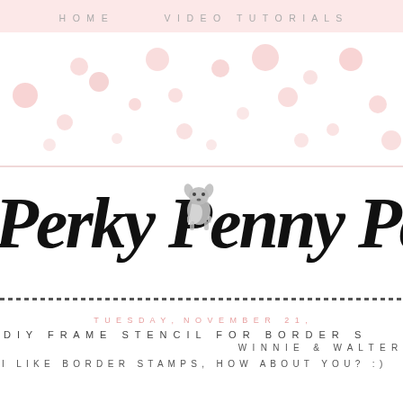HOME   VIDEO TUTORIALS
[Figure (illustration): Decorative banner with scattered pink watercolor polka dots on white background]
[Figure (logo): Perky Penny Pa... blog logo with script font and small chihuahua dog illustration, underlined with a decorative line]
TUESDAY, NOVEMBER 21,
DIY FRAME STENCIL FOR BORDER S
WINNIE & WALTER
I LIKE BORDER STAMPS, HOW ABOUT YOU? :)